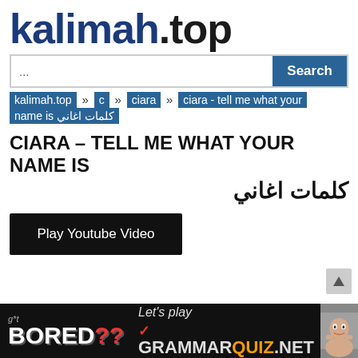kalimah.top
...
kalimah.top » c » ciara » ciara - tell me what your name is كلمات اغاني
CIARA – TELL ME WHAT YOUR NAME IS
كلمات اغاني
Play Youtube Video
got BORED?? Let's play ✓ GRAMMARQUIZ.NET